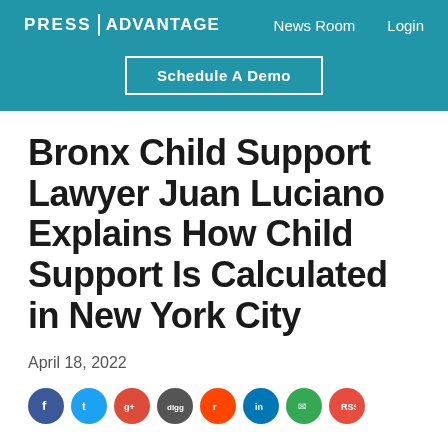PRESS|ADVANTAGE   News Room   Login   Schedule A Demo
Bronx Child Support Lawyer Juan Luciano Explains How Child Support Is Calculated in New York City
April 18, 2022
[Figure (other): Row of social media share icons: Facebook, Twitter, Google+, Digg, Reddit, LinkedIn, Email, and RSS feed buttons]